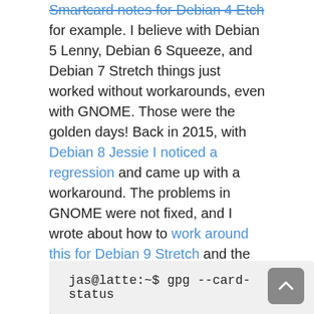Smartcard notes for Debian 4 Etch for example. I believe with Debian 5 Lenny, Debian 6 Squeeze, and Debian 7 Stretch things just worked without workarounds, even with GNOME. Those were the golden days! Back in 2015, with Debian 8 Jessie I noticed a regression and came up with a workaround. The problems in GNOME were not fixed, and I wrote about how to work around this for Debian 9 Stretch and the slightly different workaround needed for Debian 10 Buster. What will Bullseye be like?
The first impression of working with GnuPG and a smartcard is still the same. After inserting the GNUK that holds my private keys into my laptop, nothing happens by default and attempting to access the smartcard results in the following.
jas@latte:~$ gpg --card-status